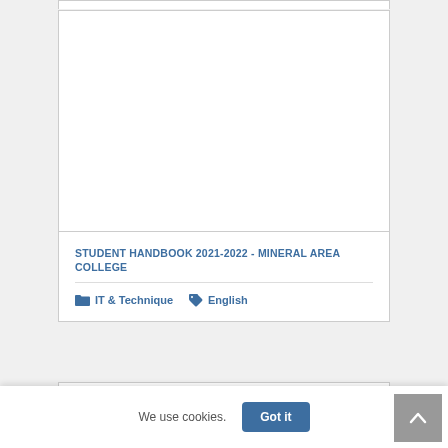[Figure (other): White card image area (blank/empty placeholder for document thumbnail)]
STUDENT HANDBOOK 2021-2022 - MINERAL AREA COLLEGE
IT & Technique   English
[Figure (other): Partial white card at bottom of viewport]
We use cookies.
Got it